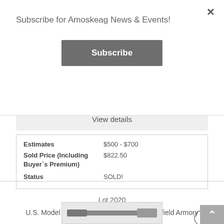Subscribe for Amoskeag News & Events!
Subscribe
Classification    {M}
View details
| Estimates | $500 - $700 |
| Sold Price (Including Buyer`s Premium) | $822.50 |
| Status | SOLD! |
Lot 2020
U.S. Model 1816 Flintlock Musket by Springfield Armory
[Figure (photo): Partial image of a flintlock musket at the bottom of the page]